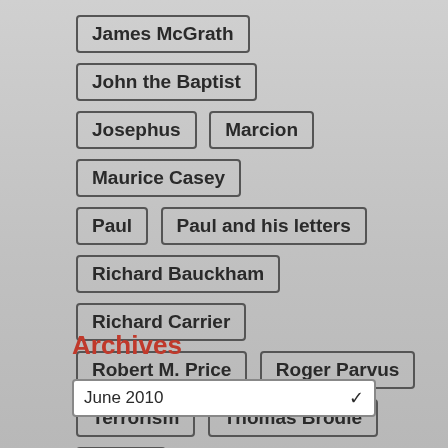James McGrath
John the Baptist
Josephus
Marcion
Maurice Casey
Paul
Paul and his letters
Richard Bauckham
Richard Carrier
Robert M. Price
Roger Parvus
Terrorism
Thomas Brodie
Trump
USA
Vridar blog
Archives
June 2010